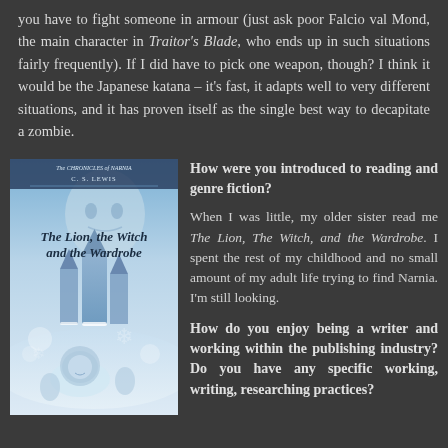you have to fight someone in armour (just ask poor Falcio val Mond, the main character in Traitor's Blade, who ends up in such situations fairly frequently). If I did have to pick one weapon, though? I think it would be the Japanese katana – it's fast, it adapts well to very different situations, and it has proven itself as the single best way to decapitate a zombie.
[Figure (illustration): Book cover of The Chronicles of Narnia: The Lion, the Witch and the Wardrobe by C. S. Lewis, featuring a fantasy winter scene with a lion, castle, and mystical figures in blue and white tones.]
How were you introduced to reading and genre fiction?
When I was little, my older sister read me The Lion, The Witch, and the Wardrobe. I spent the rest of my childhood and no small amount of my adult life trying to find Narnia. I'm still looking.
How do you enjoy being a writer and working within the publishing industry? Do you have any specific working, writing, researching practices?